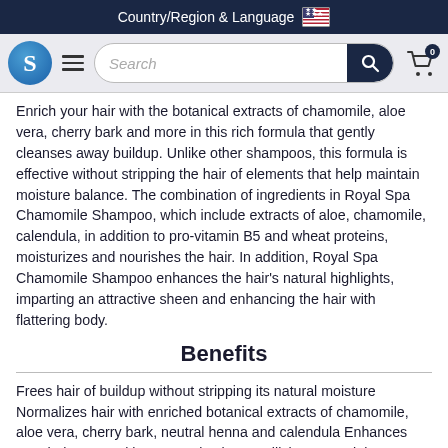Country/Region & Language 🇺🇸
[Figure (screenshot): Website navigation bar with S logo, hamburger menu, search bar, and cart icon with 0 items]
Enrich your hair with the botanical extracts of chamomile, aloe vera, cherry bark and more in this rich formula that gently cleanses away buildup. Unlike other shampoos, this formula is effective without stripping the hair of elements that help maintain moisture balance. The combination of ingredients in Royal Spa Chamomile Shampoo, which include extracts of aloe, chamomile, calendula, in addition to pro-vitamin B5 and wheat proteins, moisturizes and nourishes the hair. In addition, Royal Spa Chamomile Shampoo enhances the hair's natural highlights, imparting an attractive sheen and enhancing the hair with flattering body.
Benefits
Frees hair of buildup without stripping its natural moisture Normalizes hair with enriched botanical extracts of chamomile, aloe vera, cherry bark, neutral henna and calendula Enhances your hair's natural beauty and volume, utilizing a special formulation of panthenol and wheat protein